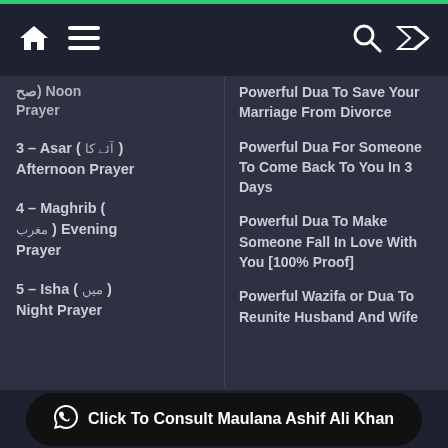Navigation bar with home, menu, search, and shuffle icons
Noon Prayer (partial)
3 – Asar ( آﺋﮯ ﮐﺎ ) Afternoon Prayer
4 – Maghrib ( ﻣﻐﺮب ) Evening Prayer
5 – Isha ( ﻣﯿﮟ ) Night Prayer
Powerful Dua To Save Your Marriage From Divorce
Powerful Dua For Someone To Come Back To You In 3 Days
Powerful Dua To Make Someone Fall In Love With You [100% Proof]
Powerful Wazifa or Dua To Reunite Husband And Wife (partial)
Click To Consult Maulana Ashif Ali Khan